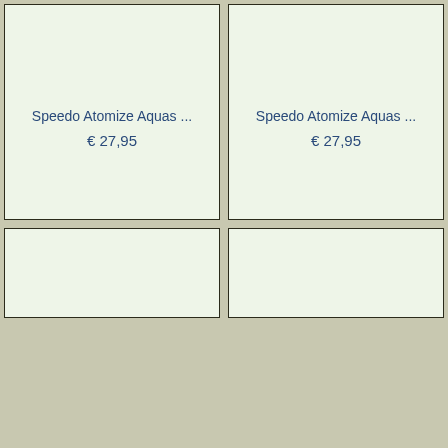Speedo Atomize Aquas ...
€ 27,95
Speedo Atomize Aquas ...
€ 27,95